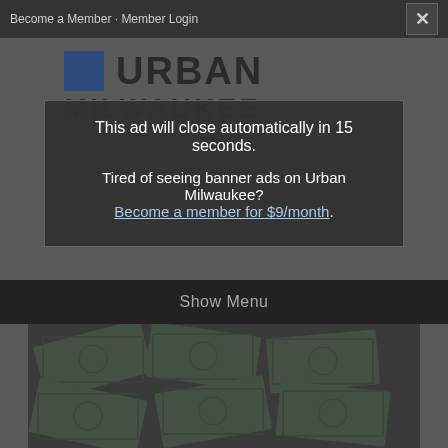Become a Member - Member Login  ×
[Figure (logo): Urban Milwaukee logo in large block letters on gray background]
This ad will close automatically in 15 seconds.
Tired of seeing banner ads on Urban Milwaukee? Become a member for $9/month.
Show Menu
[Figure (photo): Overhead photo of scattered US dollar bills, dark toned]